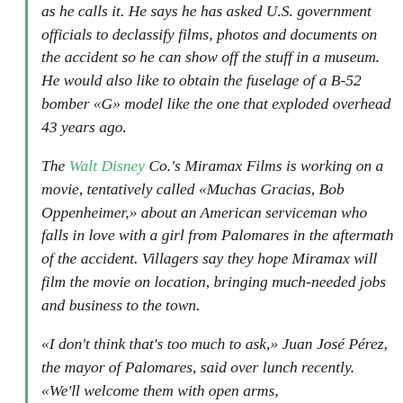as he calls it. He says he has asked U.S. government officials to declassify films, photos and documents on the accident so he can show off the stuff in a museum. He would also like to obtain the fuselage of a B-52 bomber «G» model like the one that exploded overhead 43 years ago.
The Walt Disney Co.'s Miramax Films is working on a movie, tentatively called «Muchas Gracias, Bob Oppenheimer,» about an American serviceman who falls in love with a girl from Palomares in the aftermath of the accident. Villagers say they hope Miramax will film the movie on location, bringing much-needed jobs and business to the town.
«I don't think that's too much to ask,» Juan José Pérez, the mayor of Palomares, said over lunch recently. «We'll welcome them with open arms,